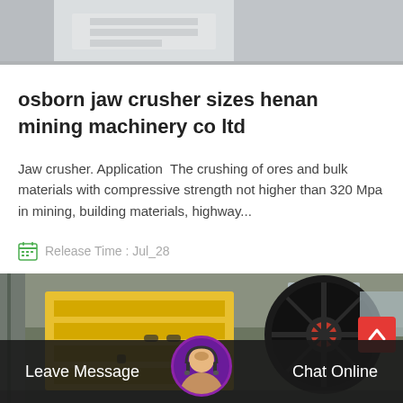[Figure (photo): Top portion of industrial mining machinery, gray metallic equipment, partial view]
osborn jaw crusher sizes henan mining machinery co ltd
Jaw crusher. Application  The crushing of ores and bulk materials with compressive strength not higher than 320 Mpa in mining, building materials, highway...
Release Time : Jul_28
[Figure (photo): Yellow jaw crusher industrial machine with large black flywheel in factory setting]
Leave Message
Chat Online